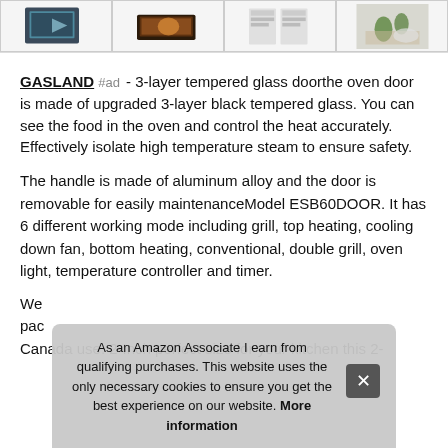[Figure (other): Four product thumbnail images in a horizontal strip at the top]
GASLAND #ad - 3-layer tempered glass doorthe oven door is made of upgraded 3-layer black tempered glass. You can see the food in the oven and control the heat accurately. Effectively isolate high temperature steam to ensure safety.
The handle is made of aluminum alloy and the door is removable for easily maintenanceModel ESB60DOOR. It has 6 different working mode including grill, top heating, cooling down fan, bottom heating, conventional, double grill, oven light, temperature controller and timer.
We pac Canada use. 2-Inch perfect size for your kitchen this 2-
As an Amazon Associate I earn from qualifying purchases. This website uses the only necessary cookies to ensure you get the best experience on our website. More information